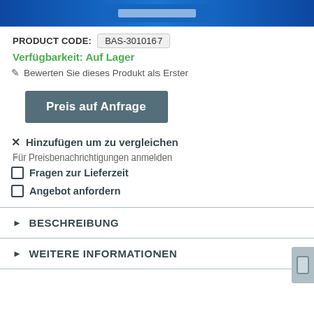[Figure (photo): Product image on blue background]
PRODUCT CODE: BAS-3010167
Verfügbarkeit: Auf Lager
✎ Bewerten Sie dieses Produkt als Erster
Preis auf Anfrage
✕ Hinzufügen um zu vergleichen
Für Preisbenachrichtigungen anmelden
Fragen zur Lieferzeit
Angebot anfordern
BESCHREIBUNG
WEITERE INFORMATIONEN